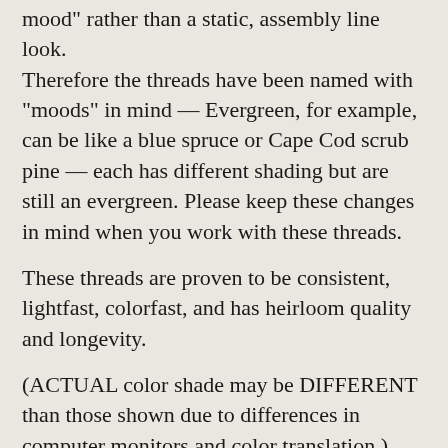mood rather than a static, assembly line look. Therefore the threads have been named with "moods" in mind — Evergreen, for example, can be like a blue spruce or Cape Cod scrub pine — each has different shading but are still an evergreen. Please keep these changes in mind when you work with these threads.
These threads are proven to be consistent, lightfast, colorfast, and has heirloom quality and longevity.
(ACTUAL color shade may be DIFFERENT than those shown due to differences in computer monitors and color translation.)
We love our customers and want only to be fair. We never charge more than what we would want to pay ourselves. If you overpaid for shipping, we will gladly refund $1.00 or more for the overage.